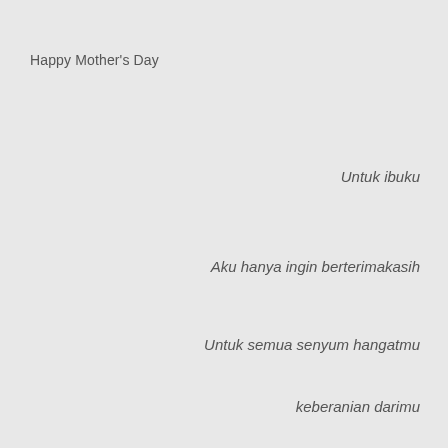Happy Mother's Day
Untuk ibuku
Aku hanya ingin berterimakasih
Untuk semua senyum hangatmu
keberanian darimu